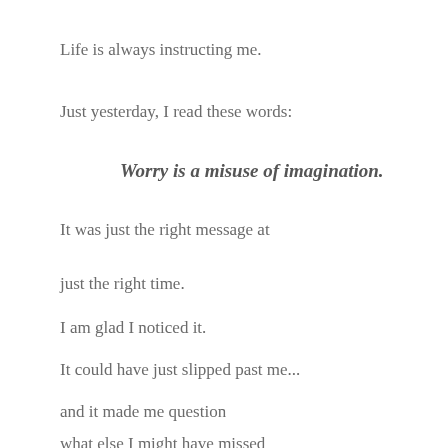Life is always instructing me.
Just yesterday, I read these words:
Worry is a misuse of imagination.
It was just the right message at
just the right time.
I am glad I noticed it.
It could have just slipped past me...
and it made me question
what else I might have missed